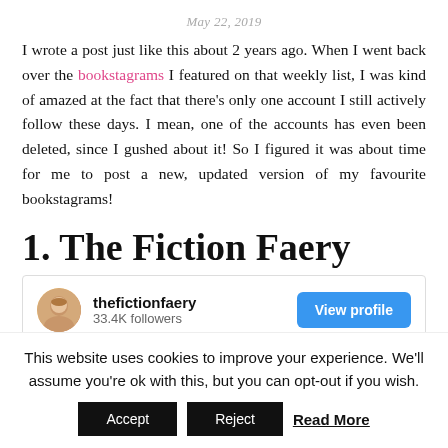May 22, 2019
I wrote a post just like this about 2 years ago. When I went back over the bookstagrams I featured on that weekly list, I was kind of amazed at the fact that there's only one account I still actively follow these days. I mean, one of the accounts has even been deleted, since I gushed about it! So I figured it was about time for me to post a new, updated version of my favourite bookstagrams!
1. The Fiction Faery
[Figure (screenshot): Instagram profile card for thefictionfaery showing avatar, username, 33.4K followers, and a blue View profile button]
This website uses cookies to improve your experience. We'll assume you're ok with this, but you can opt-out if you wish.
Accept   Reject   Read More